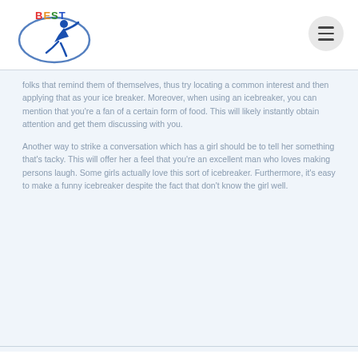[Figure (logo): BEST logo with figure skater silhouette in blue oval, 'BEST' text in multicolor letters above]
folks that remind them of themselves, thus try locating a common interest and then applying that as your ice breaker. Moreover, when using an icebreaker, you can mention that you're a fan of a certain form of food. This will likely instantly obtain attention and get them discussing with you.
Another way to strike a conversation which has a girl should be to tell her something that's tacky. This will offer her a feel that you're an excellent man who loves making persons laugh. Some girls actually love this sort of icebreaker. Furthermore, it's easy to make a funny icebreaker despite the fact that don't know the girl well.